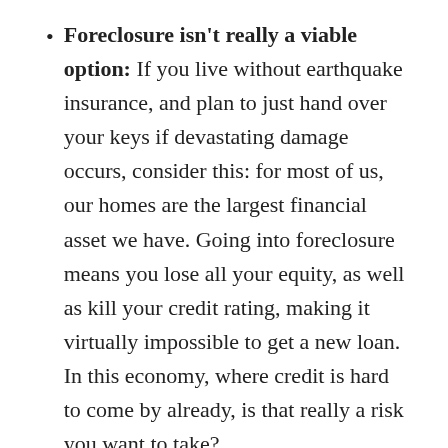Foreclosure isn't really a viable option: If you live without earthquake insurance, and plan to just hand over your keys if devastating damage occurs, consider this: for most of us, our homes are the largest financial asset we have. Going into foreclosure means you lose all your equity, as well as kill your credit rating, making it virtually impossible to get a new loan. In this economy, where credit is hard to come by already, is that really a risk you want to take?
Once you've made the decision to purchase insurance, there are a few things you need to